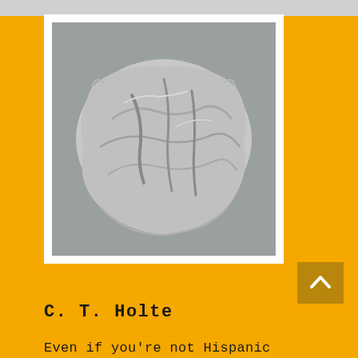[Figure (photo): A sculptural artwork resembling crumpled or folded fabric/cloth cast in grey plaster or concrete, photographed against a grey background, presented in a white-bordered frame on a yellow background.]
[Figure (other): Dark golden/olive square button with a white upward-pointing chevron/arrow symbol.]
C. T. Holte
Even if you're not Hispanic